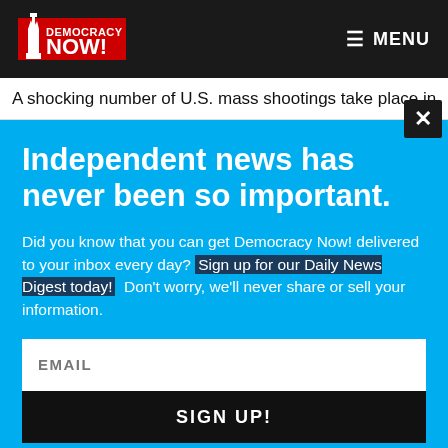Democracy Now! — MENU
A shocking number of U.S. mass shootings take place in
Independent news has never been so important.
Did you know that you can get Democracy Now! delivered to your inbox every day? Sign up for our Daily News Digest today! Don't worry, we'll never share or sell your information.
EMAIL
SIGN UP!